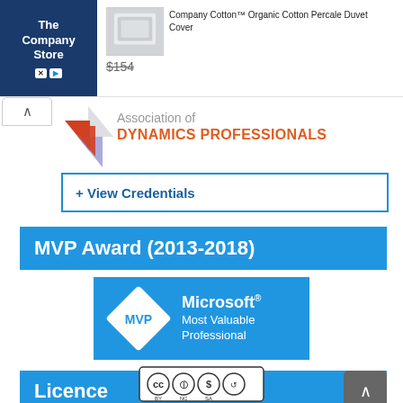[Figure (screenshot): The Company Store advertisement banner showing a duvet cover product with price $154 crossed out]
[Figure (logo): Association of Dynamics Professionals logo with arrow icon]
Association of DYNAMICS PROFESSIONALS
+ View Credentials
MVP Award (2013-2018)
[Figure (logo): Microsoft MVP Most Valuable Professional logo on blue background]
Licence
[Figure (logo): Creative Commons BY NC SA license icons]